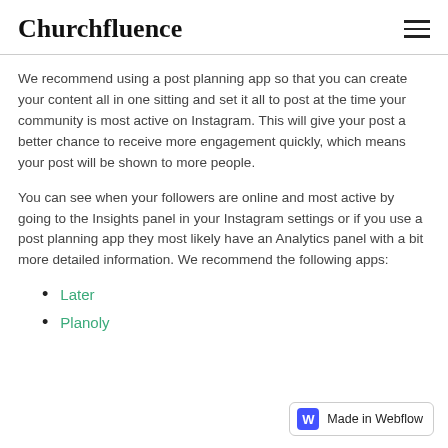Churchfluence
We recommend using a post planning app so that you can create your content all in one sitting and set it all to post at the time your community is most active on Instagram. This will give your post a better chance to receive more engagement quickly, which means your post will be shown to more people.
You can see when your followers are online and most active by going to the Insights panel in your Instagram settings or if you use a post planning app they most likely have an Analytics panel with a bit more detailed information. We recommend the following apps:
Later
Planoly